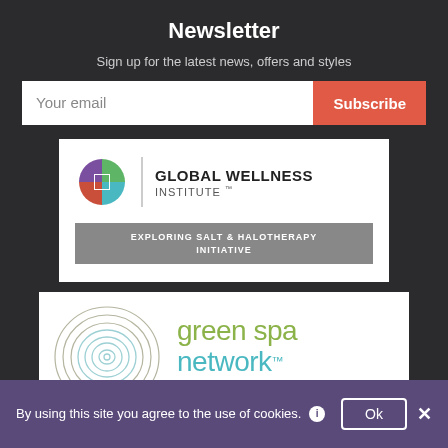Newsletter
Sign up for the latest news, offers and styles
Your email
Subscribe
[Figure (logo): Global Wellness Institute logo with circular multicolor icon, vertical divider, and text: GLOBAL WELLNESS INSTITUTE. Banner below reads: EXPLORING SALT & HALOTHERAPY INITIATIVE]
[Figure (logo): Green Spa Network logo with concentric circle illustration and text: green spa network with TM mark and tagline Vital People. Vital Planet.]
By using this site you agree to the use of cookies.
Ok
×